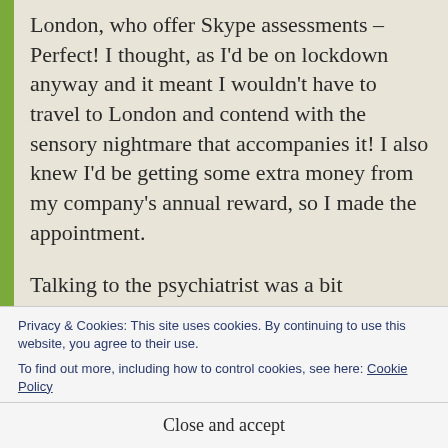London, who offer Skype assessments – Perfect! I thought, as I'd be on lockdown anyway and it meant I wouldn't have to travel to London and contend with the sensory nightmare that accompanies it! I also knew I'd be getting some extra money from my company's annual reward, so I made the appointment.
Talking to the psychiatrist was a bit challenging, in so much that I struggled to
Privacy & Cookies: This site uses cookies. By continuing to use this website, you agree to their use.
To find out more, including how to control cookies, see here: Cookie Policy
Close and accept